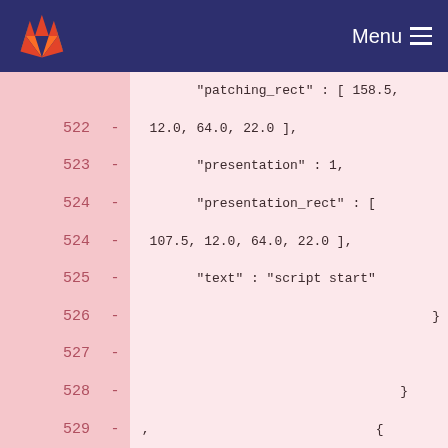Menu
522  -  "patching_rect" : [ 158.5, 12.0, 64.0, 22.0 ],
523  -  "presentation" : 1,
524  -  "presentation_rect" : [ 107.5, 12.0, 64.0, 22.0 ],
524  -  "text" : "script start"
525  -  }
526  -
527  -  }
528  -  ,  {
529  -